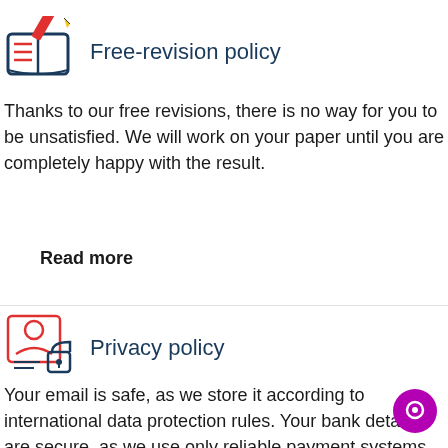[Figure (illustration): Red and dark blue icon of an open book with a pencil, representing free-revision policy]
Free-revision policy
Thanks to our free revisions, there is no way for you to be unsatisfied. We will work on your paper until you are completely happy with the result.
Read more
[Figure (illustration): Red and dark blue icon of a person badge with a padlock, representing privacy policy]
Privacy policy
Your email is safe, as we store it according to international data protection rules. Your bank details are secure, as we use only reliable payment systems.
[Figure (illustration): Purple circular chat bubble icon in bottom right corner]